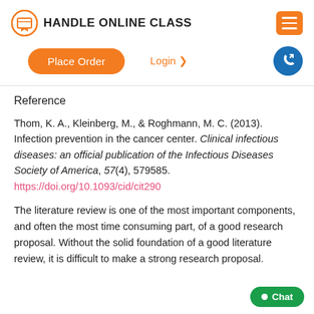HANDLE ONLINE CLASS
Reference
Thom, K. A., Kleinberg, M., & Roghmann, M. C. (2013). Infection prevention in the cancer center. Clinical infectious diseases: an official publication of the Infectious Diseases Society of America, 57(4), 579585.
https://doi.org/10.1093/cid/cit290
The literature review is one of the most important components, and often the most time consuming part, of a good research proposal. Without the solid foundation of a good literature review, it is difficult to make a strong research proposal.